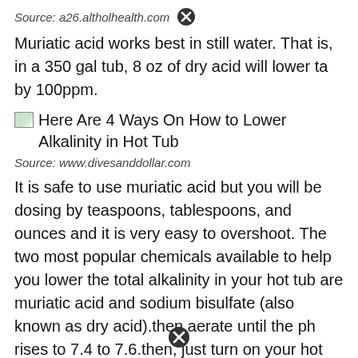Source: a26.altholhealth.com
Muriatic acid works best in still water. That is, in a 350 gal tub, 8 oz of dry acid will lower ta by 100ppm.
[Figure (illustration): Small broken image icon placeholder for 'Here Are 4 Ways On How to Lower Alkalinity in Hot Tub']
Here Are 4 Ways On How to Lower Alkalinity in Hot Tub
Source: www.divesanddollar.com
It is safe to use muriatic acid but you will be dosing by teaspoons, tablespoons, and ounces and it is very easy to overshoot. The two most popular chemicals available to help you lower the total alkalinity in your hot tub are muriatic acid and sodium bisulfate (also known as dry acid).then aerate until the ph rises to 7.4 to 7.6.then, just turn on your hot tub,.